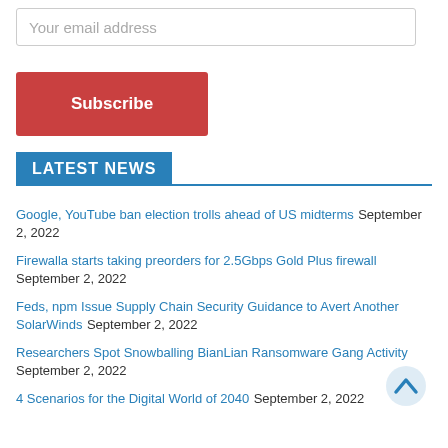Your email address
Subscribe
LATEST NEWS
Google, YouTube ban election trolls ahead of US midterms September 2, 2022
Firewalla starts taking preorders for 2.5Gbps Gold Plus firewall September 2, 2022
Feds, npm Issue Supply Chain Security Guidance to Avert Another SolarWinds September 2, 2022
Researchers Spot Snowballing BianLian Ransomware Gang Activity September 2, 2022
4 Scenarios for the Digital World of 2040 September 2, 2022